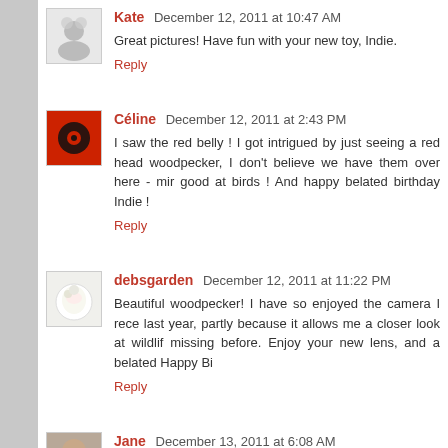Kate  December 12, 2011 at 10:47 AM
Great pictures! Have fun with your new toy, Indie.
Reply
Céline  December 12, 2011 at 2:43 PM
I saw the red belly ! I got intrigued by just seeing a red head woodpecker, I don't believe we have them over here - min good at birds ! And happy belated birthday Indie !
Reply
debsgarden  December 12, 2011 at 11:22 PM
Beautiful woodpecker! I have so enjoyed the camera I rece last year, partly because it allows me a closer look at wildlif missing before. Enjoy your new lens, and a belated Happy Bi
Reply
Jane  December 13, 2011 at 6:08 AM
SHOW OFF!! You have beautiful Woodpecker. To f...